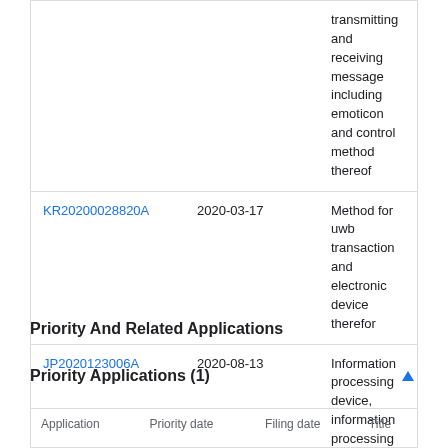|  |  |  |
| --- | --- | --- |
|  |  | transmitting and receiving message including emoticon and control method thereof |
| KR20200028820A | 2020-03-17 | Method for uwb transaction and electronic device therefor |
| JP2020123006A | 2020-08-13 | Information processing device, information processing method and information processing program, and terminal |
| KR20200028809A | 2020-03-17 | Method for uwb transaction and electronic device therefor |
Priority And Related Applications
Priority Applications (1)
| Application | Priority date | Filing date | Title |
| --- | --- | --- | --- |